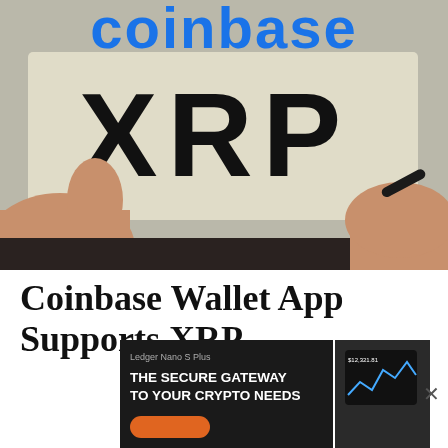[Figure (photo): Person holding a sign with XRP logo, with Coinbase logo text visible at the top in blue]
Coinbase Wallet App Supports XRP
[Figure (screenshot): Ledger Nano S Plus advertisement: 'THE SECURE GATEWAY TO YOUR CRYPTO NEEDS' with phone mockup showing crypto chart]